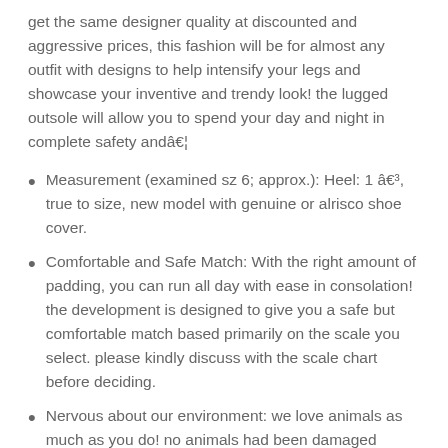get the same designer quality at discounted and aggressive prices, this fashion will be for almost any outfit with designs to help intensify your legs and showcase your inventive and trendy look! the lugged outsole will allow you to spend your day and night in complete safety andâ€¦
Measurement (examined sz 6; approx.): Heel: 1 â€³, true to size, new model with genuine or alrisco shoe cover.
Comfortable and Safe Match: With the right amount of padding, you can run all day with ease in consolation! the development is designed to give you a safe but comfortable match based primarily on the scale you select. please kindly discuss with the scale chart before deciding.
Nervous about our environment: we love animals as much as you do! no animals had been damaged during the manufacture of these sneakers. they are made with 100% vegan supplies, from the first to the sole, all from man made supplies. we only work with and transport